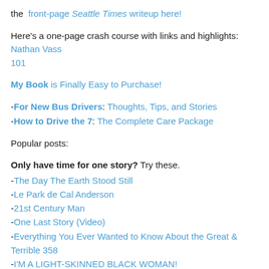the  front-page Seattle Times writeup here!
Here's a one-page crash course with links and highlights: Nathan Vass 101
My Book is Finally Easy to Purchase!
-For New Bus Drivers: Thoughts, Tips, and Stories
-How to Drive the 7: The Complete Care Package
Popular posts:
Only have time for one story? Try these.
-The Day The Earth Stood Still
-Le Park de Cal Anderson
-21st Century Man
-One Last Story (Video)
-Everything You Ever Wanted to Know About the Great & Terrible 358
-I'M A LIGHT-SKINNED BLACK WOMAN!
-The Final Flurry: Index